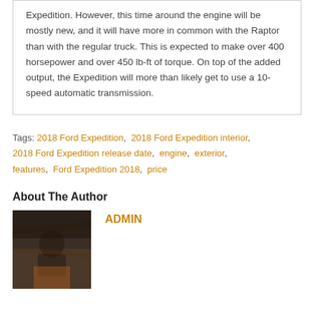Expedition. However, this time around the engine will be mostly new, and it will have more in common with the Raptor than with the regular truck. This is expected to make over 400 horsepower and over 450 lb-ft of torque. On top of the added output, the Expedition will more than likely get to use a 10-speed automatic transmission.
Tags: 2018 Ford Expedition, 2018 Ford Expedition interior, 2018 Ford Expedition release date, engine, exterior, features, Ford Expedition 2018, price
About The Author
ADMIN
[Figure (photo): Author profile photo showing a person outdoors, dark tones with orange/warm colors]